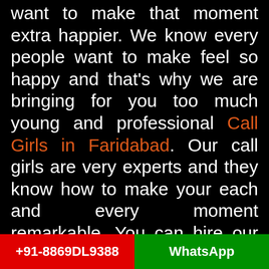want to make that moment extra happier. We know every people want to make feel so happy and that's why we are bringing for you too much young and professional Call Girls in Faridabad. Our call girls are very experts and they know how to make your each and every moment remarkable. You can hire our girls for your birthday party, alone trip, disco night, late-night party, bachelor party, and much more. In these all happier moments, they will show you how you can remember this for a long time. They are very attractive and gorgeous personality women. Our each and every girl are very professional, trained,
+91-8869DL9388 | WhatsApp